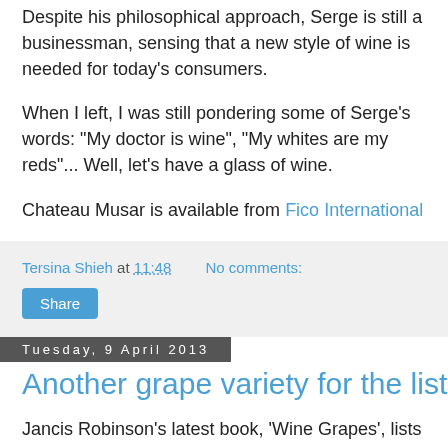Despite his philosophical approach, Serge is still a businessman, sensing that a new style of wine is needed for today's consumers.
When I left, I was still pondering some of Serge's words: "My doctor is wine", "My whites are my reds"... Well, let's have a glass of wine.
Chateau Musar is available from Fico International
Tersina Shieh at 11:48   No comments:
Share
Tuesday, 9 April 2013
Another grape variety for the list
Jancis Robinson's latest book, 'Wine Grapes', lists 1,368 varieties. You may also have heard of 'The Wine Century